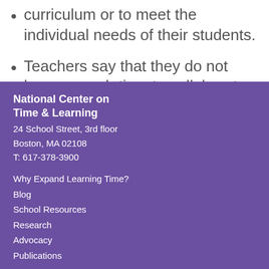curriculum or to meet the individual needs of their students.
Teachers say that they do not have enough time to collaborate.
National Center on Time & Learning
24 School Street, 3rd floor
Boston, MA 02108
T: 617-378-3900

Why Expand Learning Time?
Blog
School Resources
Research
Advocacy
Publications